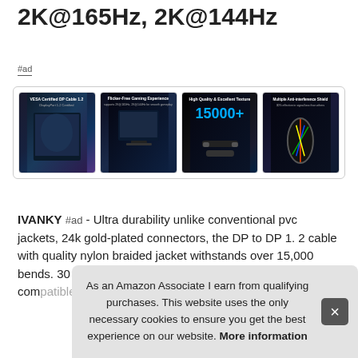2K@165Hz, 2K@144Hz
#ad
[Figure (photo): Four product images for an IVANKY DisplayPort cable: first shows a gaming scene (Halo), second shows a gaming monitor setup with text 'Flicker-Free Gaming Experience', third shows the cable with '15000+' bends text in cyan, fourth shows the cable cross-section with 'Multiple Anti-interference Shield' branding.]
IVANKY #ad - Ultra durability unlike conventional pvc jackets, 24k gold-plated connectors, the DP to DP 1. 2 cable with quality nylon braided jacket withstands over 15,000 bends. 30 AWG copper conductors for stable signal. compatible with more devices. and
As an Amazon Associate I earn from qualifying purchases. This website uses the only necessary cookies to ensure you get the best experience on our website. More information